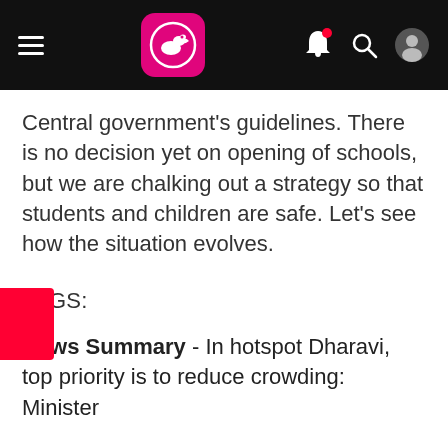Navigation bar with hamburger menu, logo, bell, search, and profile icons
Central government's guidelines. There is no decision yet on opening of schools, but we are chalking out a strategy so that students and children are safe. Let's see how the situation evolves.
TAGS:
News Summary - In hotspot Dharavi, top priority is to reduce crowding: Minister